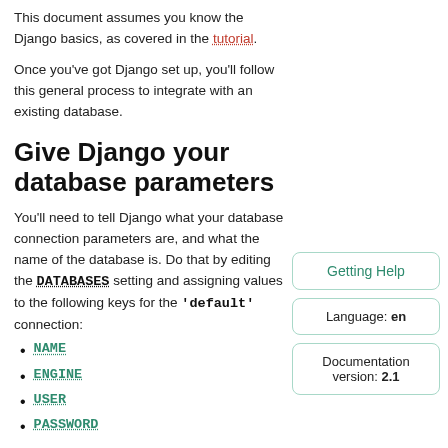This document assumes you know the Django basics, as covered in the tutorial.
Once you've got Django set up, you'll follow this general process to integrate with an existing database.
Give Django your database parameters
You'll need to tell Django what your database connection parameters are, and what the name of the database is. Do that by editing the DATABASES setting and assigning values to the following keys for the 'default' connection:
NAME
ENGINE
USER
PASSWORD